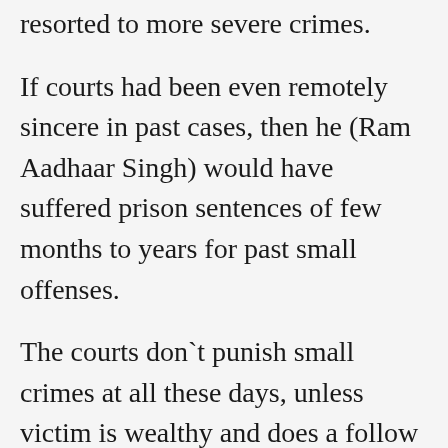resorted to more severe crimes.
If courts had been even remotely sincere in past cases, then he (Ram Aadhaar Singh) would have suffered prison sentences of few months to years for past small offenses.
The courts don`t punish small crimes at all these days, unless victim is wealthy and does a follow up. The main reasons being — judges are corrupt, public prosecutors are corrupt and so are investigators i.e policemen. And High Court judges are more corrupt, and only interested in cases which can fetch them money or fetch money to their relative lawyers or fetch them promotions, and do not give a damn